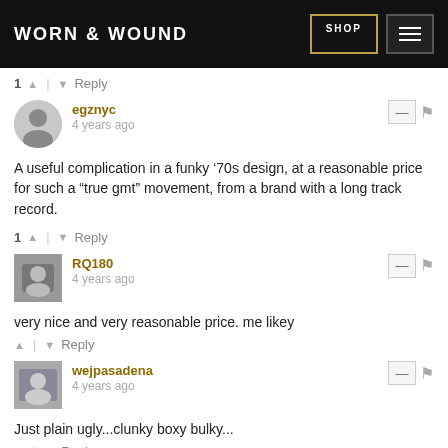WORN & WOUND — SHOP / MENU
1 ↑ | ↓ Reply
egznyc
4 years ago
A useful complication in a funky ‘70s design, at a reasonable price for such a “true gmt” movement, from a brand with a long track record.
1 ↑ | ↓ Reply
RQ180
4 years ago
very nice and very reasonable price. me likey
↑ | ↓ Reply
wejpasadena
4 years ago
Just plain ugly...clunky boxy bulky...
↑ | ↓ Reply